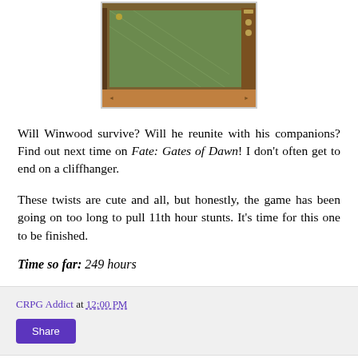[Figure (screenshot): A pixel-art style RPG game screenshot showing a green playing field area with diagonal lines, brown border/frame, and a bottom scroll bar. Navigation arrows visible on the right side.]
Will Winwood survive? Will he reunite with his companions? Find out next time on Fate: Gates of Dawn! I don't often get to end on a cliffhanger.
These twists are cute and all, but honestly, the game has been going on too long to pull 11th hour stunts. It's time for this one to be finished.
Time so far: 249 hours
CRPG Addict at 12:00 PM
Share
26 comments: